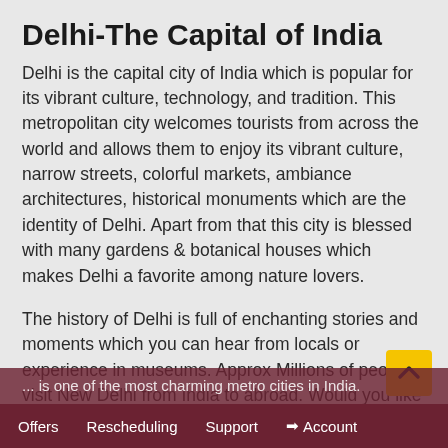Delhi-The Capital of India
Delhi is the capital city of India which is popular for its vibrant culture, technology, and tradition. This metropolitan city welcomes tourists from across the world and allows them to enjoy its vibrant culture, narrow streets, colorful markets, ambiance architectures, historical monuments which are the identity of Delhi. Apart from that this city is blessed with many gardens & botanical houses which makes Delhi a favorite among nature lovers.
The history of Delhi is full of enchanting stories and moments which you can hear from locals or experience in museums. Approx Millions of people visit New Delhi from India to abroad. Would you like to visit New Delhi? Whether it is your first trip or you used to visit here frequently. You will collect sweet memories every time... is one of the most charming metro cities in India.
Offers   Rescheduling   Support   Account